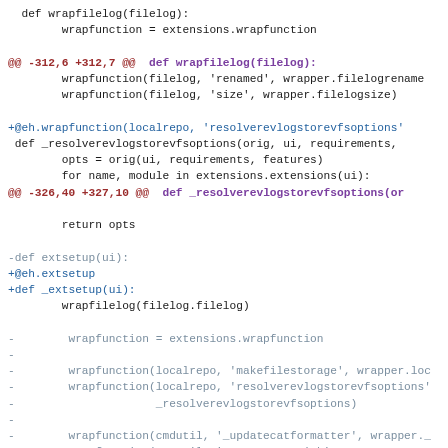[Figure (screenshot): Code diff showing Python source changes with hunk headers, added lines (blue), removed lines (gray/blue), and context lines (black). Shows changes to wrapfilelog, _resolverevlogstorevfsoptions, and extsetup functions.]